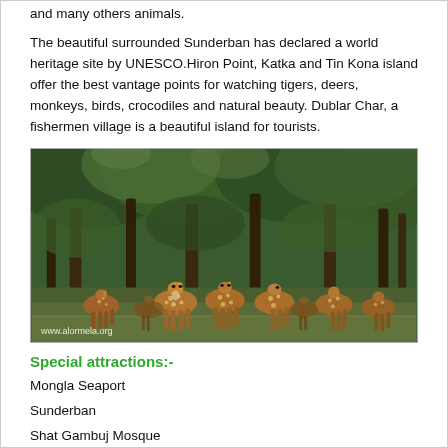and many others animals.
The beautiful surrounded Sunderban has declared a world heritage site by UNESCO.Hiron Point, Katka and Tin Kona island offer the best vantage points for watching tigers, deers, monkeys, birds, crocodiles and natural beauty. Dublar Char, a fishermen village is a beautiful island for tourists.
[Figure (photo): A group of spotted deer (chital) standing in a forest with trees and green foliage in the background, in the Sundarbans. Watermark: www.alormela.org]
Special attractions:-
Mongla Seaport
Sunderban
Shat Gambuj Mosque